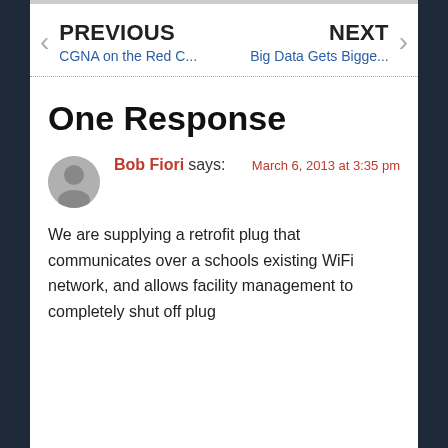PREVIOUS CGNA on the Red C...
NEXT Big Data Gets Bigge...
One Response
Bob Fiori says: March 6, 2013 at 3:35 pm
We are supplying a retrofit plug that communicates over a schools existing WiFi network, and allows facility management to completely shut off plug